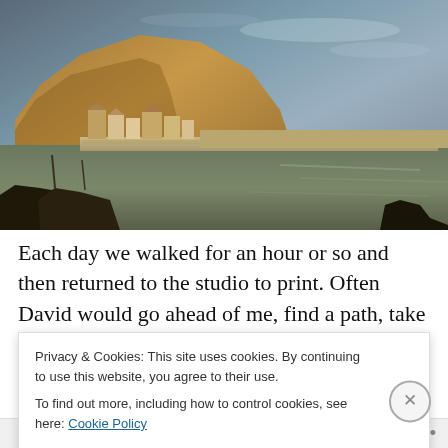[Figure (photo): Coastal harbour scene with large sandstone/chalk cliff on the left, small village buildings along the harbour wall, calm water in foreground with dark boat silhouettes, dramatic cloudy sky]
Each day we walked for an hour or so and then returned to the studio to print. Often David would go ahead of me, find a path, take photos and notes for his own letterpress
Privacy & Cookies: This site uses cookies. By continuing to use this website, you agree to their use.
To find out more, including how to control cookies, see here: Cookie Policy
Close and accept
Follow